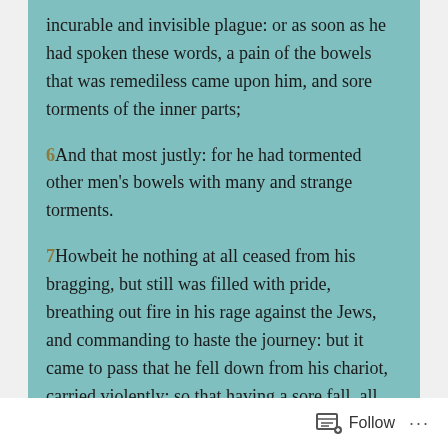incurable and invisible plague: or as soon as he had spoken these words, a pain of the bowels that was remediless came upon him, and sore torments of the inner parts;
6And that most justly: for he had tormented other men's bowels with many and strange torments.
7Howbeit he nothing at all ceased from his bragging, but still was filled with pride, breathing out fire in his rage against the Jews, and commanding to haste the journey: but it came to pass that he fell down from his chariot, carried violently; so that having a sore fall, all the members of his body were much pained.
8And thus he that a little afore thought he might command the waves of the sea, (so proud was he beyond the condition of man) and weigh the high mountains in a balance, was now cast on the
Follow